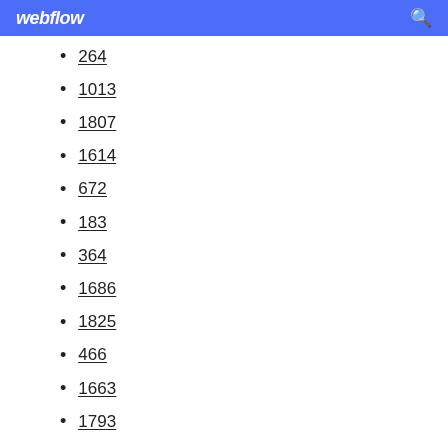webflow
264
1013
1807
1614
672
183
364
1686
1825
466
1663
1793